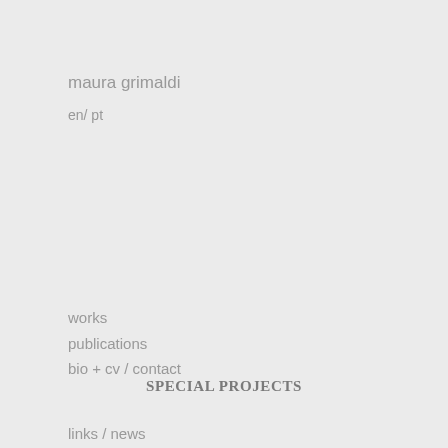maura grimaldi
en/ pt
works
publications
bio + cv / contact
links / news
SPECIAL PROJECTS